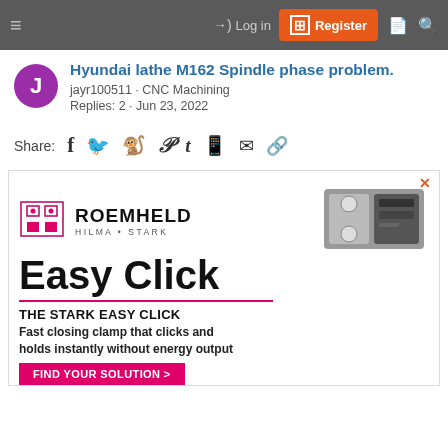Log in | Register
Hyundai lathe M162 Spindle phase problem.
jayr100511 · CNC Machining
Replies: 2 · Jun 23, 2022
Share:
[Figure (screenshot): ROEMHELD HILMA STARK advertisement featuring Easy Click fast closing clamp product with image of clamp hardware and text: THE STARK EASY CLICK - Fast closing clamp that clicks and holds instantly without energy output - FIND YOUR SOLUTION >]